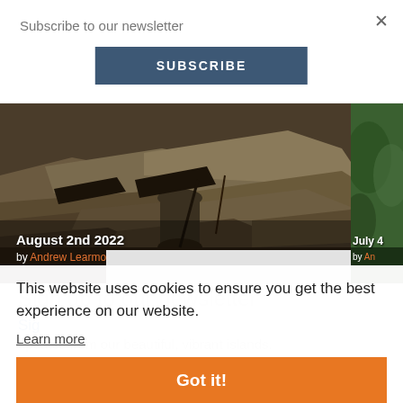Subscribe to our newsletter
SUBSCRIBE
[Figure (photo): Photograph of stone ruins or archaeological dig site with flat stone slabs and debris, titled August 2nd 2022 by Andrew Learmonth]
[Figure (photo): Partial photo (right edge) showing green vegetation or landscape, titled July 4... by An...]
This website uses cookies to ensure you get the best experience on our website.
Learn more
Sign up to our newsletter
Got it!
Sig
updates from our beautiful, vibrant islands.